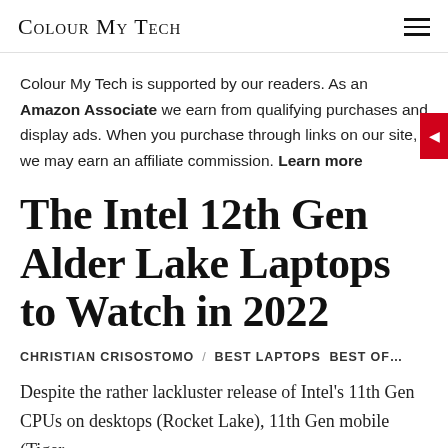Colour My Tech
Colour My Tech is supported by our readers. As an Amazon Associate we earn from qualifying purchases and display ads. When you purchase through links on our site, we may earn an affiliate commission. Learn more
The Intel 12th Gen Alder Lake Laptops to Watch in 2022
CHRISTIAN CRISOSTOMO / BEST LAPTOPS  BEST OF…
Despite the rather lackluster release of Intel's 11th Gen CPUs on desktops (Rocket Lake), 11th Gen mobile (Tiger Lake) has been a pretty nice mid-level upgrade…